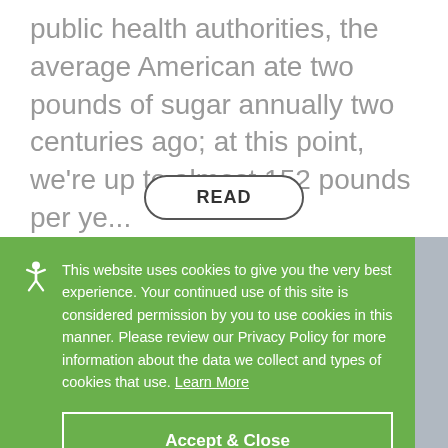public health authorities, the average American ate two pounds of sugar annually two centuries ago; at this point, we're up to almost 152 pounds per ye...
READ
This website uses cookies to give you the very best experience. Your continued use of this site is considered permission by you to use cookies in this manner. Please review our Privacy Policy for more information about the data we collect and types of cookies that use. Learn More
Accept & Close